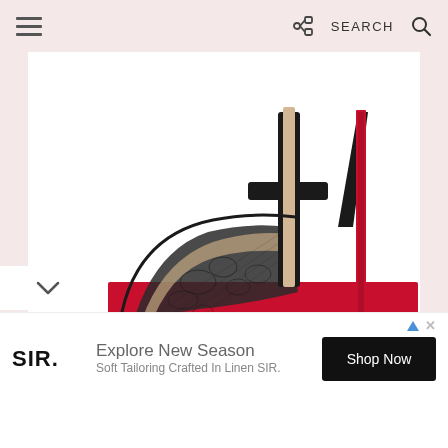Navigation bar with hamburger menu, share icon, SEARCH, and search icon
[Figure (photo): Christian Louboutin Tiny Lace t-bar sandal with black lace mesh upper, t-bar strap, and signature red sole, photographed on white background]
Apr 24, 2015
Friday Fix | Christian Louboutin 'Tiny Lace' t-bar sandals
[Figure (infographic): Social sharing icons: Facebook (f), Twitter (bird), Pinterest (P)]
[Figure (infographic): Advertisement banner: SIR. brand logo, Explore New Season - Soft Tailoring Crafted In Linen SIR., Shop Now button]